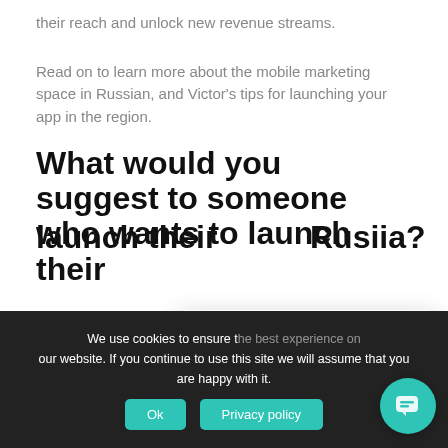their reach and unlock new revenue streams.
Read on to learn more about the mobile marketing space in Russian, and Victor's tips for launching your app in the region.
What would you suggest to someone who wants to launch their app in Russia?
I wouldn't say Russia di...
[Figure (screenshot): Chat popup with logo and text 'Got any questions? I'm happy to help.']
We use cookies to ensure the best experience on our website. If you continue to use this site we will assume that you are happy with it.